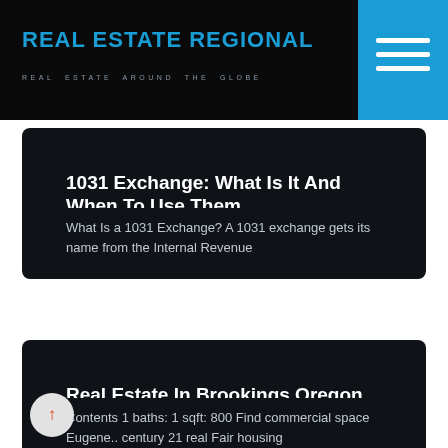REAL ESTATE REGIONAL
REAL ESTATE AROUND THE GLOBE
1031 Exchange: What Is It And When To Use Them
What Is a 1031 Exchange? A 1031 exchange gets its name from the Internal Revenue
Real Estate In Brookings Oregon
Contents 1 baths: 1 sqft: 800 Find commercial space Eugene.. century 21 real Fair housing
Real Estate Pendleton Oregon
Contents Estate jobs eugene oregon Los angeles chargers selected justin Oregon ducks, real Eugene